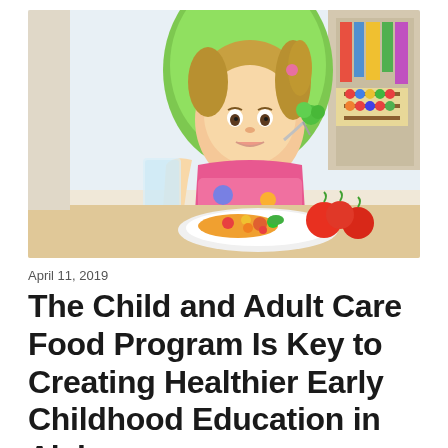[Figure (photo): A young girl with pigtails sitting in a green high chair, eating broccoli from a fork. In front of her is a plate of mixed vegetables and a glass of water. Red tomatoes are on the table beside the plate. The background shows a bright room with a bookshelf.]
April 11, 2019
The Child and Adult Care Food Program Is Key to Creating Healthier Early Childhood Education in Alabama